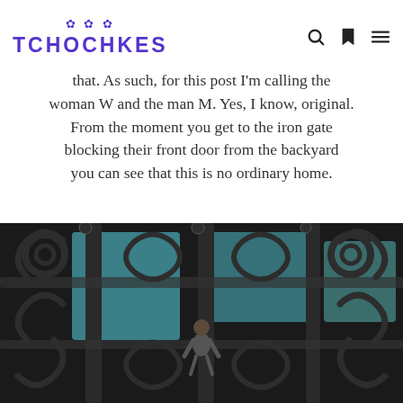TCHOCHKES
By request of the owners of this home I'm not disclosing their names or location – but I can show my pictures – so I'm good with that. As such, for this post I'm calling the woman W and the man M. Yes, I know, original. From the moment you get to the iron gate blocking their front door from the backyard you can see that this is no ordinary home.
[Figure (photo): Close-up photograph of an ornate black iron gate with decorative scrollwork and floral patterns. A small child or figurine is visible climbing on the gate in the center. A teal/turquoise wall or structure is visible through the gate.]